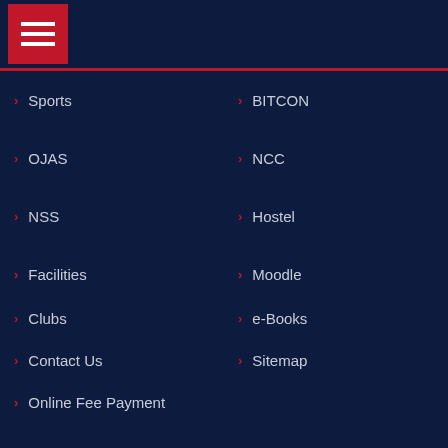[Figure (screenshot): Navigation menu screenshot of an educational institution website with hamburger button, red divider, two-column nav links, downloads section, and sidebar widgets]
Sports
BITCON
OJAS
NCC
NSS
Hostel
Facilities
Moodle
Clubs
e-Books
Contact Us
Sitemap
Online Fee Payment
DOWNLOADS
News & Events
0788-2359424
Exam form
Admission...
Calender
Prospectu...
Magazine
Online Payment
Examination